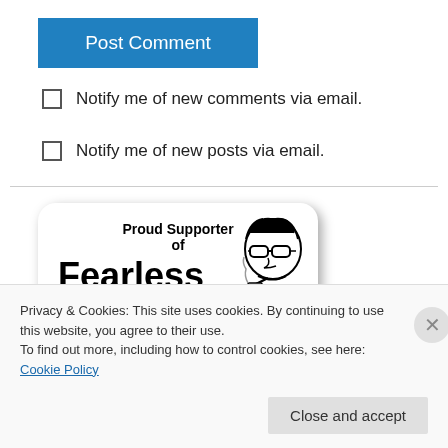Post Comment
Notify me of new comments via email.
Notify me of new posts via email.
[Figure (illustration): Badge reading 'Proud Supporter of Fearless' with a cartoon character illustration on the right side]
Privacy & Cookies: This site uses cookies. By continuing to use this website, you agree to their use.
To find out more, including how to control cookies, see here: Cookie Policy
Close and accept